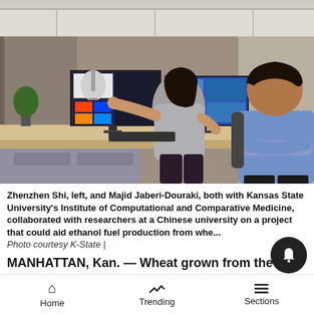[Figure (photo): Two researchers in an office cubicle setting. A woman on the left (Zhenzhen Shi) is pointing to a monitor showing scientific data/simulation images. A man on the right (Majid Jaberi-Douraki) is sitting with arms crossed, looking at the screen.]
Zhenzhen Shi, left, and Majid Jaberi-Douraki, both with Kansas State University's Institute of Computational and Comparative Medicine, collaborated with researchers at a Chinese university on a project that could aid ethanol fuel production from whe... Photo courtesy K-State |
MANHATTAN, Kan. — Wheat grown from the